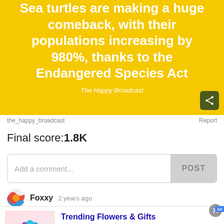[Figure (screenshot): Yellow banner with white bold text: 'Sea turtles are making a huge comeback, with their populations increasing by 980%, thanks to the Endangered Species Act'. Source: The Happy Broadcast. Dark share button bottom right.]
The Happy Broadcast
the_happy_broadcast
Report
Final score:1.8K
Add a comment...
POST
Foxxy  2 years ago
[Figure (infographic): Advertisement overlay: Trending Flowers & Gifts, Shop The Collection, www.1800flowers.com, with flower bouquet image and blue forward arrow button. Close X button top right.]